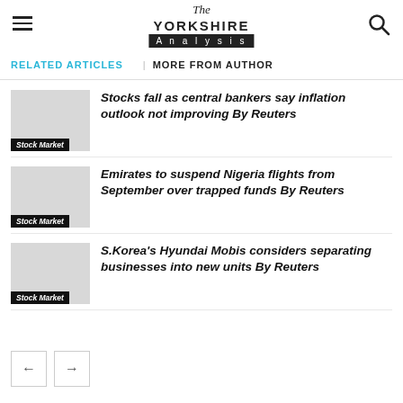The Yorkshire Analysis
RELATED ARTICLES   MORE FROM AUTHOR
Stocks fall as central bankers say inflation outlook not improving By Reuters
Stock Market
Emirates to suspend Nigeria flights from September over trapped funds By Reuters
Stock Market
S.Korea's Hyundai Mobis considers separating businesses into new units By Reuters
Stock Market